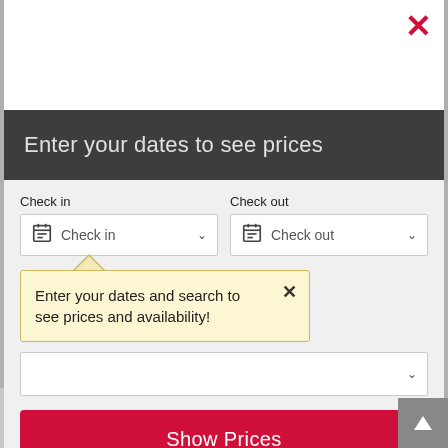[Figure (screenshot): Hotel booking modal dialog with date picker fields for Check in and Check out, a tooltip saying 'Enter your dates and search to see prices and availability!', and a 'Show Prices' button in red. Below the modal is a partially visible page showing Smoking Policy and Pets sections.]
Enter your dates to see prices
Check in
Check out
Enter your dates and search to see prices and availability!
Show Prices
No preference
Smoking Policy
No smoking
Pets
No pets